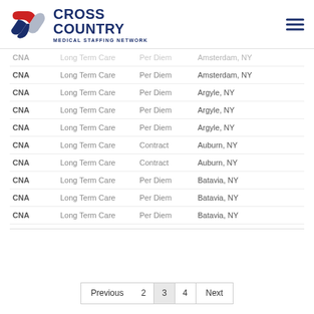[Figure (logo): Cross Country Medical Staffing Network logo with red and blue overlapping diamond shapes and bold navy text]
|  |  |  |  |
| --- | --- | --- | --- |
| CNA | Long Term Care | Per Diem | Amsterdam, NY |
| CNA | Long Term Care | Per Diem | Amsterdam, NY |
| CNA | Long Term Care | Per Diem | Argyle, NY |
| CNA | Long Term Care | Per Diem | Argyle, NY |
| CNA | Long Term Care | Per Diem | Argyle, NY |
| CNA | Long Term Care | Contract | Auburn, NY |
| CNA | Long Term Care | Contract | Auburn, NY |
| CNA | Long Term Care | Per Diem | Batavia, NY |
| CNA | Long Term Care | Per Diem | Batavia, NY |
| CNA | Long Term Care | Per Diem | Batavia, NY |
Previous  2  3  4  Next